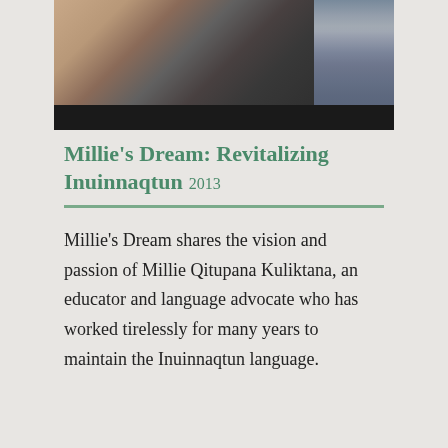[Figure (photo): Portrait photograph of a person with dark hair wearing a dark jacket, with bookshelves visible in the background. Lower portion of image is cropped with a black bar.]
Millie's Dream: Revitalizing Inuinnaqtun 2013
Millie's Dream shares the vision and passion of Millie Qitupana Kuliktana, an educator and language advocate who has worked tirelessly for many years to maintain the Inuinnaqtun language.